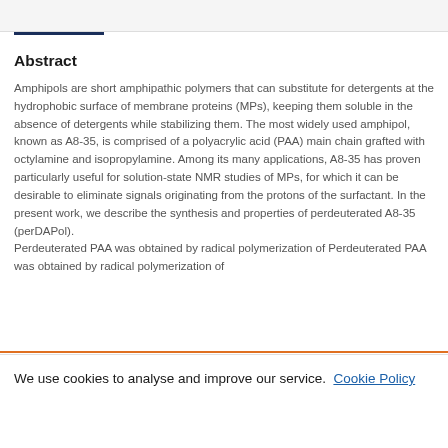Abstract
Amphipols are short amphipathic polymers that can substitute for detergents at the hydrophobic surface of membrane proteins (MPs), keeping them soluble in the absence of detergents while stabilizing them. The most widely used amphipol, known as A8-35, is comprised of a polyacrylic acid (PAA) main chain grafted with octylamine and isopropylamine. Among its many applications, A8-35 has proven particularly useful for solution-state NMR studies of MPs, for which it can be desirable to eliminate signals originating from the protons of the surfactant. In the present work, we describe the synthesis and properties of perdeuterated A8-35 (perDAPol). Perdeuterated PAA was obtained by radical polymerization of
We use cookies to analyse and improve our service. Cookie Policy